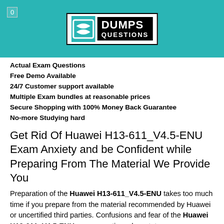[Figure (logo): DumpsQuestions logo with teal header background, number 0 badge, and black/white logo box with stylized S icon and DUMPS QUESTIONS text]
Actual Exam Questions
Free Demo Available
24/7 Customer support available
Multiple Exam bundles at reasonable prices
Secure Shopping with 100% Money Back Guarantee
No-more Studying hard
Get Rid Of Huawei H13-611_V4.5-ENU Exam Anxiety and be Confident while Preparing From The Material We Provide You
Preparation of the Huawei H13-611_V4.5-ENU takes too much time if you prepare from the material recommended by Huawei or uncertified third parties. Confusions and fear of the Huawei H13-611_V4.5-ENU exam questions devastate your preparation. You can protect yourself from the fear, confusion, failure, loss of time and money by using Dumps Questions Huawei Certification H13-611_V4.5-